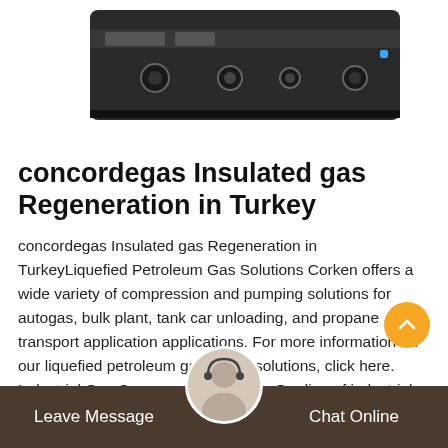[Figure (photo): Photo of industrial gas compression/switching device with black chassis, multiple ports and connectors on the front panel, partially cropped at top of page.]
concordegas Insulated gas Regeneration in Turkey
concordegas Insulated gas Regeneration in TurkeyLiquefied Petroleum Gas Solutions Corken offers a wide variety of compression and pumping solutions for autogas, bulk plant, tank car unloading, and propane transport application applications. For more information on our liquefied petroleum gas (LPG) solutions, click here. Industrial Gas Compressor Solutions Our line of industrial reciprocating compressors is one of the most versa lines []
[Figure (photo): Customer support avatar: a woman wearing a headset, shown in circular frame at bottom center of page.]
Leave Message   Chat Online